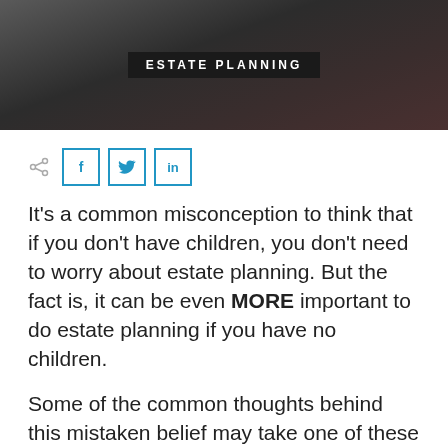[Figure (photo): Dark background photo header with a blurred portrait image and 'ESTATE PLANNING' badge in center]
[Figure (infographic): Social sharing icons: share arrow, Facebook (f), Twitter (bird), LinkedIn (in) buttons in blue outlined squares]
It’s a common misconception to think that if you don’t have children, you don’t need to worry about estate planning. But the fact is, it can be even MORE important to do estate planning if you have no children.
Some of the common thoughts behind this mistaken belief may take one of these forms:
“If I die, everything will pass to my spouse